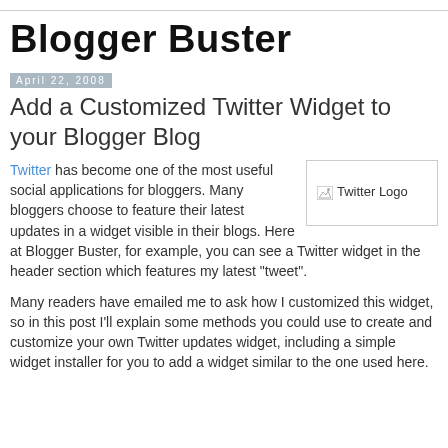Blogger Buster
April 22, 2008
Add a Customized Twitter Widget to your Blogger Blog
Twitter has become one of the most useful social applications for bloggers. Many bloggers choose to feature their latest updates in a widget visible in their blogs. Here at Blogger Buster, for example, you can see a Twitter widget in the header section which features my latest "tweet".
[Figure (logo): Twitter Logo placeholder image]
Many readers have emailed me to ask how I customized this widget, so in this post I'll explain some methods you could use to create and customize your own Twitter updates widget, including a simple widget installer for you to add a widget similar to the one used here.